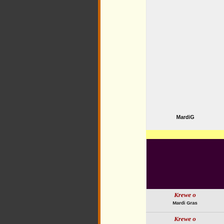[Figure (illustration): Dark gray left column background, part of a website or document layout]
[Figure (illustration): Cream/ivory middle column background]
[Figure (illustration): Mardi Gras card thumbnail image with decorative border, labeled MardiG...]
MardiG
[Figure (illustration): Dark purple/maroon rectangular header bar]
Krewe o
Mardi Gras
Krewe o
Mardi Gr